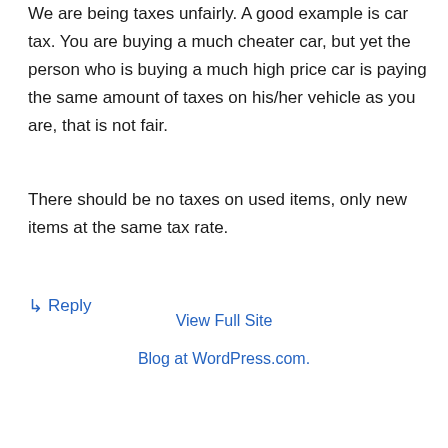We are being taxes unfairly. A good example is car tax. You are buying a much cheater car, but yet the person who is buying a much high price car is paying the same amount of taxes on his/her vehicle as you are, that is not fair.
There should be no taxes on used items, only new items at the same tax rate.
↳ Reply
View Full Site
Blog at WordPress.com.